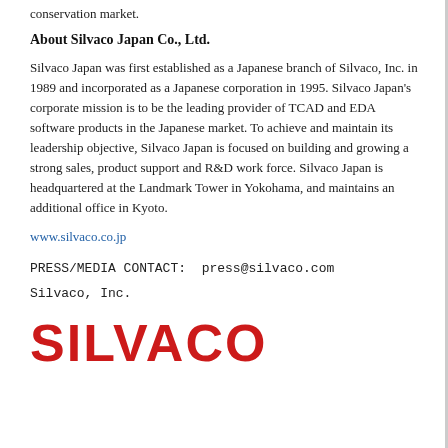conservation market.
About Silvaco Japan Co., Ltd.
Silvaco Japan was first established as a Japanese branch of Silvaco, Inc. in 1989 and incorporated as a Japanese corporation in 1995. Silvaco Japan's corporate mission is to be the leading provider of TCAD and EDA software products in the Japanese market. To achieve and maintain its leadership objective, Silvaco Japan is focused on building and growing a strong sales, product support and R&D work force. Silvaco Japan is headquartered at the Landmark Tower in Yokohama, and maintains an additional office in Kyoto.
www.silvaco.co.jp
PRESS/MEDIA CONTACT:  press@silvaco.com
Silvaco, Inc.
[Figure (logo): Silvaco logo in bold red capital letters: SILVACO]